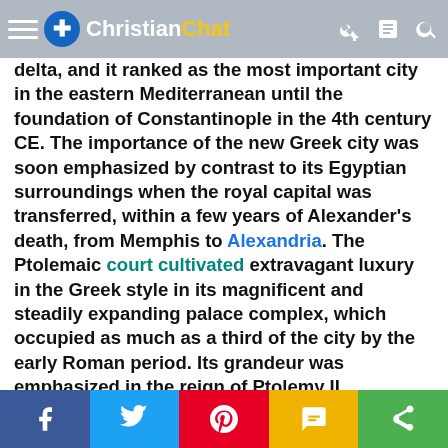ChristianChat navigation bar
delta, and it ranked as the most important city in the eastern Mediterranean until the foundation of Constantinople in the 4th century CE. The importance of the new Greek city was soon emphasized by contrast to its Egyptian surroundings when the royal capital was transferred, within a few years of Alexander's death, from Memphis to Alexandria. The Ptolemaic court cultivated extravagant luxury in the Greek style in its magnificent and steadily expanding palace complex, which occupied as much as a third of the city by the early Roman period. Its grandeur was emphasized in the reign of Ptolemy II Philadelphus by the foundation of a quadrennial festival, the Ptolemaieia, which was intended to enjoy a status equal to that of the Olympic Games. The festival was marked by a procession of amazingly elaborate and ingeniously constructed floats, with scenarios illustrating Greek religious cults.
Ptolemy II gave the dynasty another distinctive feature when he married his full sister Arsinoe II, one of the most
Share bar: Facebook, Twitter, Pinterest, SMS, Share